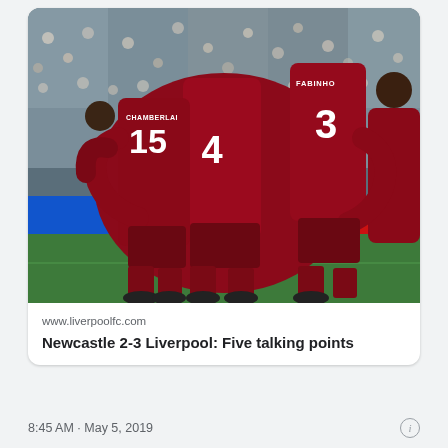[Figure (photo): Liverpool FC players in red jerseys (numbers 15, 4, 3 visible, with FABINHO on back of #3) celebrating together in a group hug on the football pitch, with stadium crowd in background and a red advertising board reading TBALL visible.]
www.liverpoolfc.com
Newcastle 2-3 Liverpool: Five talking points
8:45 AM · May 5, 2019